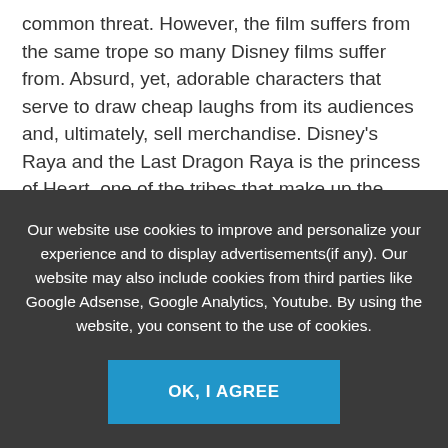common threat. However, the film suffers from the same trope so many Disney films suffer from. Absurd, yet, adorable characters that serve to draw cheap laughs from its audiences and, ultimately, sell merchandise. Disney's Raya and the Last Dragon Raya is the princess of Heart, one of the tribes that make up the fractured lands of what was once the kingdom of Kumandra. She…
Read More
Our website use cookies to improve and personalize your experience and to display advertisements(if any). Our website may also include cookies from third parties like Google Adsense, Google Analytics, Youtube. By using the website, you consent to the use of cookies.
OK, I AGREE